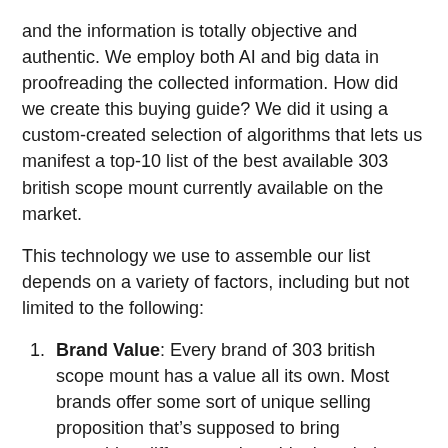and the information is totally objective and authentic. We employ both AI and big data in proofreading the collected information. How did we create this buying guide? We did it using a custom-created selection of algorithms that lets us manifest a top-10 list of the best available 303 british scope mount currently available on the market.
This technology we use to assemble our list depends on a variety of factors, including but not limited to the following:
Brand Value: Every brand of 303 british scope mount has a value all its own. Most brands offer some sort of unique selling proposition that’s supposed to bring something different to the table than their competitors.
Features: What bells and whistles matter for an 303 british scope mount?